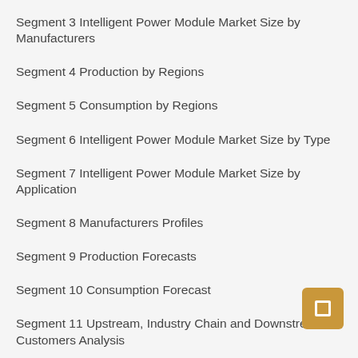Segment 3 Intelligent Power Module Market Size by Manufacturers
Segment 4 Production by Regions
Segment 5 Consumption by Regions
Segment 6 Intelligent Power Module Market Size by Type
Segment 7 Intelligent Power Module Market Size by Application
Segment 8 Manufacturers Profiles
Segment 9 Production Forecasts
Segment 10 Consumption Forecast
Segment 11 Upstream, Industry Chain and Downstream Customers Analysis
Segment 12 Threat and Affecting Factors, Opportunities & Challenges